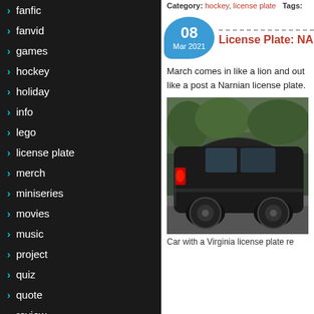fanfic
fanvid
games
hockey
holiday
info
lego
license plate
merch
miniseries
movies
music
project
quiz
quote
review
rpg
sports
top ten
tv show
Uncategorized
video game
Category: hockey, license plate   Tags:
License Plate: NA
March comes in like a lion and out like a post a Narnian license plate.
[Figure (photo): A dark-colored car photographed from behind, with red tail lights visible, parked or driving on a road with green trees in the background.]
Car with a Virginia license plate re